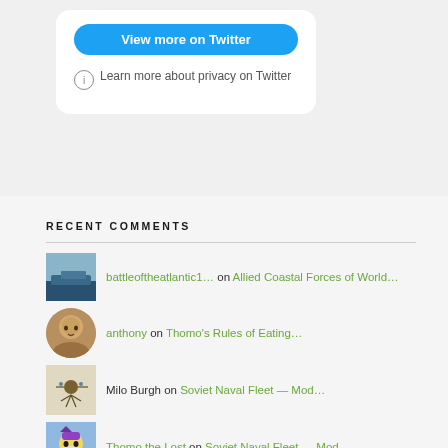[Figure (screenshot): Twitter embed card with 'View more on Twitter' blue button and privacy info line]
RECENT COMMENTS
battleoftheatlantic1… on Allied Coastal Forces of World…
anthony on Thomo's Rules of Eating…
Milo Burgh on Soviet Naval Fleet — Mod…
Thomo the Lost on Soviet Naval Fleet — Mod…
Milo Burgh on Soviet Naval Fleet — Mod…